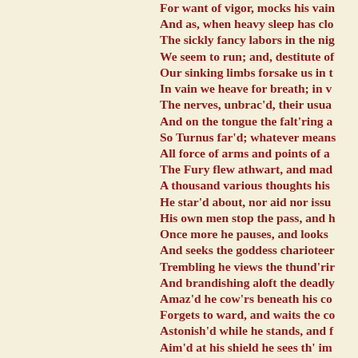For want of vigor, mocks his vain
And as, when heavy sleep has clo
The sickly fancy labors in the nig
We seem to run; and, destitute of
Our sinking limbs forsake us in t
In vain we heave for breath; in v
The nerves, unbrac'd, their usua
And on the tongue the falt'ring a
So Turnus far'd; whatever means
All force of arms and points of a
The Fury flew athwart, and mad
A thousand various thoughts his
He star'd about, nor aid nor issu
His own men stop the pass, and h
Once more he pauses, and looks
And seeks the goddess charioteer
Trembling he views the thund'rir
And brandishing aloft the deadly
Amaz'd he cow'rs beneath his co
Forgets to ward, and waits the co
Astonish'd while he stands, and f
Aim'd at his shield he sees th' im
The hero measur'd first, with na
The destin'd mark; and, rising a